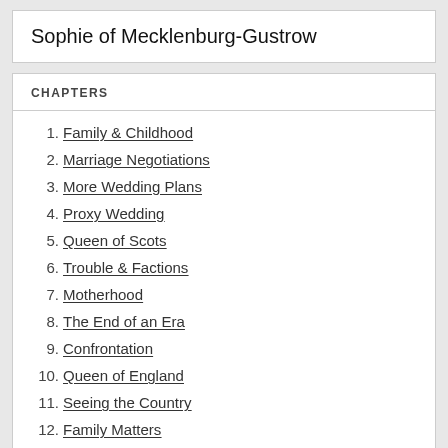Sophie of Mecklenburg-Gustrow
CHAPTERS
1. Family & Childhood
2. Marriage Negotiations
3. More Wedding Plans
4. Proxy Wedding
5. Queen of Scots
6. Trouble & Factions
7. Motherhood
8. The End of an Era
9. Confrontation
10. Queen of England
11. Seeing the Country
12. Family Matters
13. Loss